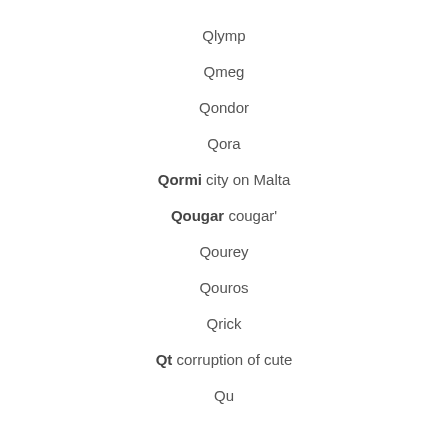Qlymp
Qmeg
Qondor
Qora
Qormi city on Malta
Qougar cougar'
Qourey
Qouros
Qrick
Qt corruption of cute
Qu